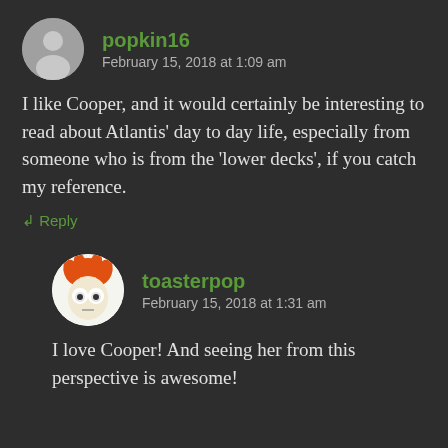[Figure (illustration): Gray circle avatar with a white silhouette person icon]
popkin16
February 15, 2018 at 1:09 am
I like Cooper, and it would certainly be interesting to read about Atlantis' day to day life, especially from someone who is from the ‘lower decks’, if you catch my reference.
↲ Reply
[Figure (illustration): Circular avatar showing Beaker from the Muppets with orange hair and white eyes]
toasterpop
February 15, 2018 at 1:31 am
I love Cooper! And seeing her from this perspective is awesome!